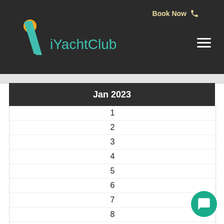iYachtClub — Book Now
Jan 2023
1
2
3
4
5
6
7
8
9